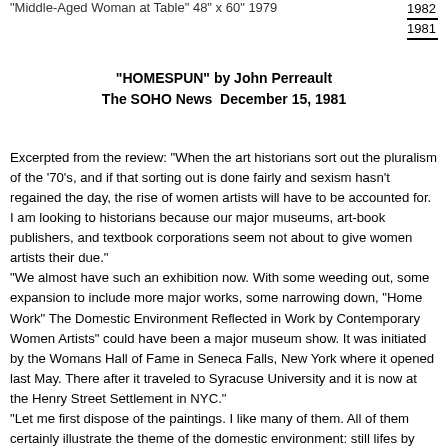"Middle-Aged Woman at Table"  48" x 60"  1979
1982
1981
"HOMESPUN" by John Perreault
The SOHO News  December 15, 1981
Excerpted from the review: "When the art historians sort out the pluralism of the '70's, and if that sorting out is done fairly and sexism hasn't regained the day, the rise of women artists will have to be accounted for.  I am looking to historians because our major museums, art-book publishers, and textbook corporations seem not about to give women artists their due." "We almost have such an exhibition now.  With some weeding out, some expansion to include more major works, some narrowing down, "Home Work" The Domestic Environment Reflected in Work by Contemporary Women Artists" could have been a major museum show.  It was initiated by the Womans Hall of Fame in Seneca Falls, New York where it opened last May.  There after it traveled to Syracuse University and it is now at the Henry Street Settlement in NYC."
"Let me first dispose of the paintings.  I like many of them.  All of them certainly illustrate the theme of the domestic environment:  still lifes by Marion Lerner Levine, Loretta Menchel Shapiro, Harriet Shorr and Joyce Stillman-Myers.  Ruth Gray's paintings of unmade beds, in spite of a paint surface I find hesitant, have emotional force.  Diane Marsh's two paintings of individual women at their ironing and at kitchen tasks are...